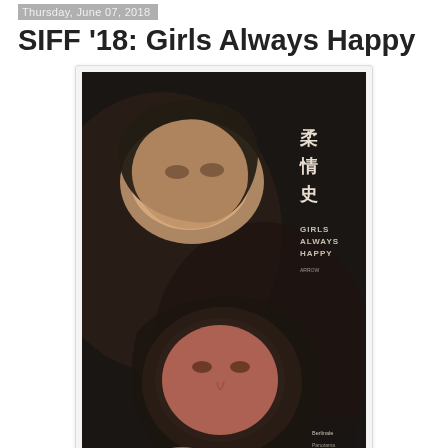Thursday, June 07, 2018
SIFF '18: Girls Always Happy
[Figure (photo): Movie poster for 'Girls Always Happy' (柔情史), featuring a dark background with expressionistic painted faces — an older woman and a younger person — with Chinese characters and film festival laurels visible.]
Wu is her mother's daughter. She never forgets a slight and has a flair for the dramatic. However, we cannot say whether she is her father's daughter, because he hasn't been around for a long time. That partially explains their precarious financial situation. General Chinese cultural attitudes on gender and class do not help much either, but they share plenty of culpability for their own bad choices. They are almost like an anti-Ozu movie, but mother and